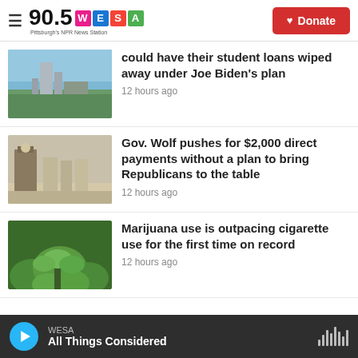90.5 WESA — Pittsburgh's NPR News Station | Donate
[Figure (photo): Photo of a tall building or tower in Pittsburgh with trees and sky in background]
could have their student loans wiped away under Joe Biden's plan
12 hours ago
[Figure (photo): Photo of Gov. Wolf and others at a press conference podium]
Gov. Wolf pushes for $2,000 direct payments without a plan to bring Republicans to the table
12 hours ago
[Figure (photo): Photo of marijuana/cannabis plants growing]
Marijuana use is outpacing cigarette use for the first time on record
12 hours ago
WESA — All Things Considered